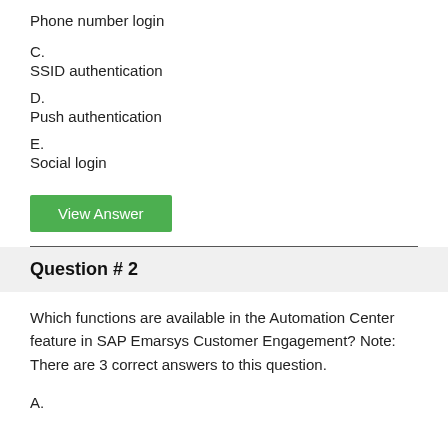Phone number login
C.
SSID authentication
D.
Push authentication
E.
Social login
View Answer
Question # 2
Which functions are available in the Automation Center feature in SAP Emarsys Customer Engagement? Note: There are 3 correct answers to this question.
A.